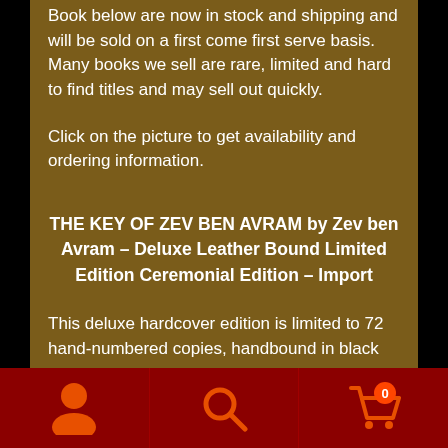Book below are now in stock and shipping and will be sold on a first come first serve basis. Many books we sell are rare, limited and hard to find titles and may sell out quickly.
Click on the picture to get availability and ordering information.
THE KEY OF ZEV BEN AVRAM by Zev ben Avram – Deluxe Leather Bound Limited Edition Ceremonial Edition – Import
This deluxe hardcover edition is limited to 72 hand-numbered copies, handbound in black
[Figure (other): Bottom navigation bar with user icon, search icon, and shopping cart icon with badge showing 0]